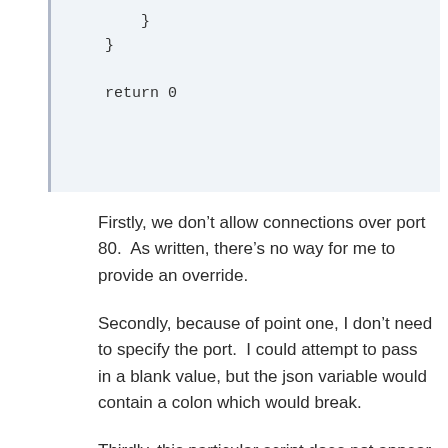[Figure (screenshot): Code snippet showing closing braces and 'return 0' on a light blue background with a left border]
Firstly, we don’t allow connections over port 80.  As written, there’s no way for me to provide an override.
Secondly, because of point one, I don’t need to specify the port.  I could attempt to pass in a blank value, but the json variable would contain a colon which would break.
Thirdly, this particular script does not appear to use the